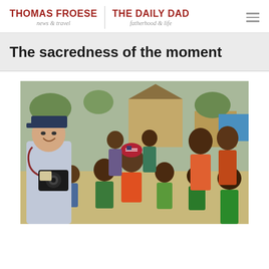THOMAS FROESE | THE DAILY DAD — news & travel | fatherhood & life
The sacredness of the moment
[Figure (photo): A man wearing a baseball cap and light blue shirt with a camera hanging around his neck shows the camera screen to a large crowd of African children outdoors, with basic structures visible in the background.]